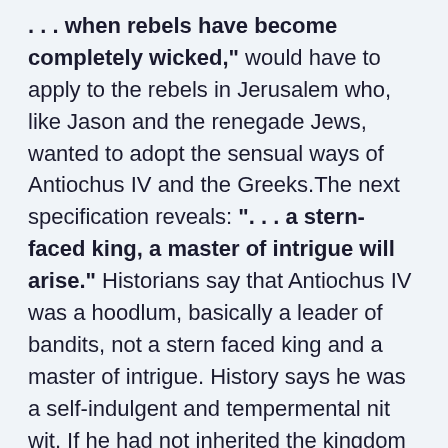. . . when rebels have become completely wicked," would have to apply to the rebels in Jerusalem who, like Jason and the renegade Jews, wanted to adopt the sensual ways of Antiochus IV and the Greeks.The next specification reveals: ". . . a stern-faced king, a master of intrigue will arise." Historians say that Antiochus IV was a hoodlum, basically a leader of bandits, not a stern faced king and a master of intrigue. History says he was a self-indulgent and tempermental nit wit. If he had not inherited the kingdom from his father, historians are confident that he would not have been able to build one. Because Antiochus IV was inept as a king (remember, even the Romans called him a madman), advocates of Antiochus IV claim he was...